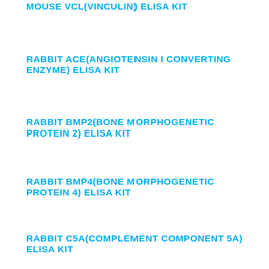MOUSE VCL(VINCULIN) ELISA KIT
RABBIT ACE(ANGIOTENSIN I CONVERTING ENZYME) ELISA KIT
RABBIT BMP2(BONE MORPHOGENETIC PROTEIN 2) ELISA KIT
RABBIT BMP4(BONE MORPHOGENETIC PROTEIN 4) ELISA KIT
RABBIT C5A(COMPLEMENT COMPONENT 5A) ELISA KIT
RABBIT CCKAR(CHOLECYSTOKININ A RECEPTOR) ELISA KIT
RABBIT CKM(CREATINE KINASE, MUSCLE) ELISA KIT